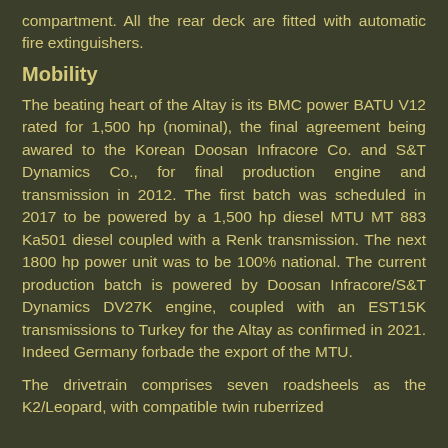compartment. All the rear deck are fitted with automatic fire extinguishers.
Mobility
The beating heart of the Altay is its BMC power BATU V12 rated for 1,500 hp (nominal), the final agreement being awared to the Korean Doosan Infracore Co. and S&T Dynamics Co., for final production engine and transmission in 2012. The first batch was scheduled in 2017 to be powered by a 1,500 hp diesel MTU MT 883 Ka501 diesel coupled with a Renk transmission. The next 1800 hp power unit was to be 100% national. The current production batch is powered by Doosan Infracore/S&T Dynamics DV27K engine, coupled with an EST15K transmissions to Turkey for the Altay as confirmed in 2021. Indeed Germany forbade the export of the MTU.
The drivetrain comprises seven roadsheels as the K2/Leopard, with compatible twin ruberrized